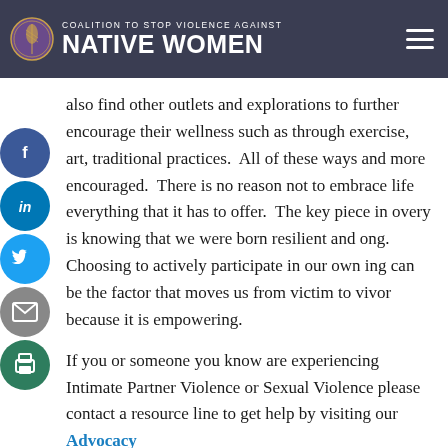COALITION to STOP VIOLENCE AGAINST NATIVE WOMEN
also find other outlets and explorations to further encourage their wellness such as through exercise, art, traditional practices.  All of these ways and more encouraged.  There is no reason not to embrace life everything that it has to offer.  The key piece in overy is knowing that we were born resilient and ong.  Choosing to actively participate in our own ing can be the factor that moves us from victim to vivor because it is empowering.
If you or someone you know are experiencing Intimate Partner Violence or Sexual Violence please contact a resource line to get help by visiting our Advocacy